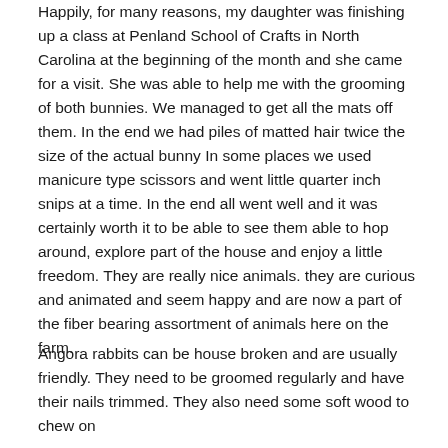Happily, for many reasons, my daughter was finishing up a class at Penland School of Crafts in North Carolina at the beginning of the month and she came for a visit. She was able to help me with the grooming of both bunnies. We managed to get all the mats off them. In the end we had piles of matted hair twice the size of the actual bunny In some places we used manicure type scissors and went little quarter inch snips at a time. In the end all went well and it was certainly worth it to be able to see them able to hop around, explore part of the house and enjoy a little freedom. They are really nice animals. they are curious and animated and seem happy and are now a part of the fiber bearing assortment of animals here on the farm.
Angora rabbits can be house broken and are usually friendly. They need to be groomed regularly and have their nails trimmed. They also need some soft wood to chew on